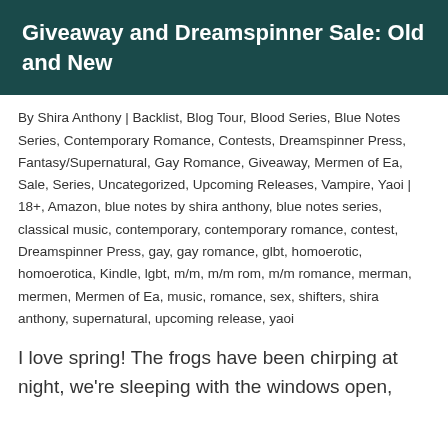Giveaway and Dreamspinner Sale: Old and New
By Shira Anthony | Backlist, Blog Tour, Blood Series, Blue Notes Series, Contemporary Romance, Contests, Dreamspinner Press, Fantasy/Supernatural, Gay Romance, Giveaway, Mermen of Ea, Sale, Series, Uncategorized, Upcoming Releases, Vampire, Yaoi | 18+, Amazon, blue notes by shira anthony, blue notes series, classical music, contemporary, contemporary romance, contest, Dreamspinner Press, gay, gay romance, glbt, homoerotic, homoerotica, Kindle, lgbt, m/m, m/m rom, m/m romance, merman, mermen, Mermen of Ea, music, romance, sex, shifters, shira anthony, supernatural, upcoming release, yaoi
I love spring! The frogs have been chirping at night, we're sleeping with the windows open,